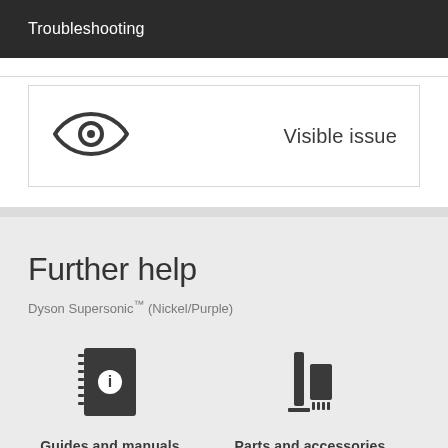Troubleshooting
[Figure (illustration): Eye icon representing a visible issue, with text 'Visible issue' on the right]
Further help
Dyson Supersonic™ (Nickel/Purple)
[Figure (illustration): Manual/book icon representing Guides and manuals]
Guides and manuals
[Figure (illustration): Tools/accessories icon representing Parts and accessories]
Parts and accessories